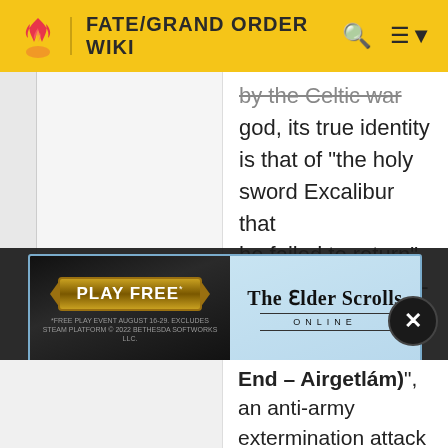FATE/GRAND ORDER WIKI
by the Celtic war god, its true identity is that of "the holy sword Excalibur that he failed to return". A constantly active-type of Noble Phantasm. By releasing the True Name with the word
[Figure (screenshot): Advertisement banner for The Elder Scrolls Online - Play Free event August 16-29]
End – Airgetlám)", an anti-army extermination attack